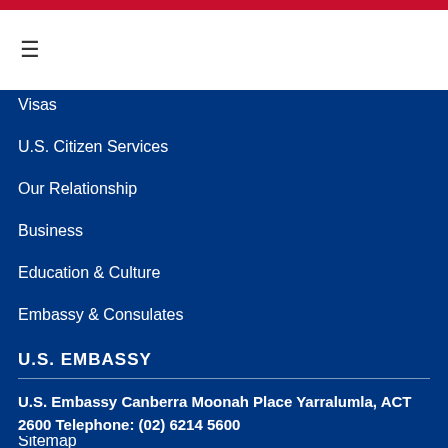Visas
U.S. Citizen Services
Our Relationship
Business
Education & Culture
Embassy & Consulates
News & Events
Privacy
Sitemap
U.S. EMBASSY
U.S. Embassy Canberra Moonah Place Yarralumla, ACT 2600 Telephone: (02) 6214 5600